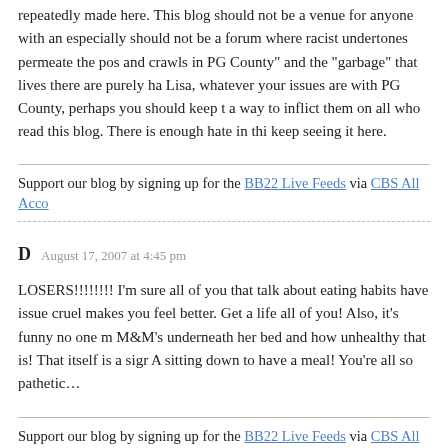repeatedly made here. This blog should not be a venue for anyone with an especially should not be a forum where racist undertones permeate the pos and crawls in PG County" and the "garbage" that lives there are purely ha Lisa, whatever your issues are with PG County, perhaps you should keep t a way to inflict them on all who read this blog. There is enough hate in thi keep seeing it here.
Support our blog by signing up for the BB22 Live Feeds via CBS All Acco
D  August 17, 2007 at 4:45 pm
LOSERS!!!!!!!! I'm sure all of you that talk about eating habits have issue cruel makes you feel better. Get a life all of you! Also, it's funny no one m M&M's underneath her bed and how unhealthy that is! That itself is a sigr A sitting down to have a meal! You're all so pathetic…
Support our blog by signing up for the BB22 Live Feeds via CBS All Acco